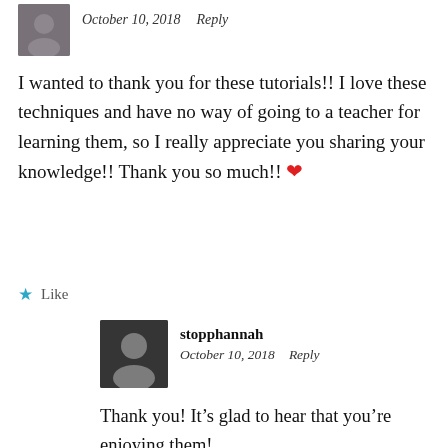[Figure (photo): Small avatar photo of a person, partially visible at top left]
October 10, 2018   Reply
I wanted to thank you for these tutorials!! I love these techniques and have no way of going to a teacher for learning them, so I really appreciate you sharing your knowledge!! Thank you so much!! ❤
★ Like
[Figure (photo): Black and white avatar photo of stopphannah]
stopphannah
October 10, 2018   Reply
Thank you! It's glad to hear that you're enjoying them!